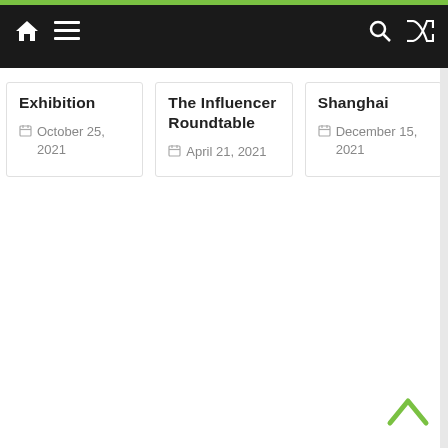Navigation bar with home, menu, search, and shuffle icons
Exhibition
October 25, 2021
The Influencer Roundtable
April 21, 2021
Shanghai
December 15, 2021